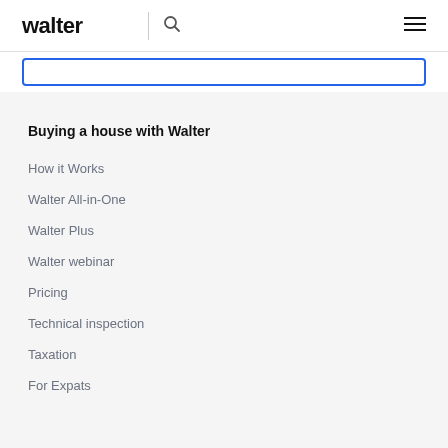walter
Buying a house with Walter
How it Works
Walter All-in-One
Walter Plus
Walter webinar
Pricing
Technical inspection
Taxation
For Expats